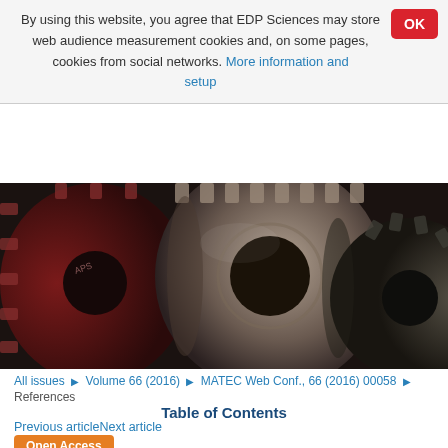By using this website, you agree that EDP Sciences may store web audience measurement cookies and, on some pages, cookies from social networks. More information and setup
[Figure (photo): Close-up photograph of interlocking metal gears]
All issues ▶ Volume 66 (2016) ▶ MATEC Web Conf., 66 (2016) 00058 ▶ References
Table of Contents
Previous articleNext article
Open Access
1. Tan, S. T., Ho, W. S., Hashim, H., Lee, C. T., Taib, M. R., & Ho, C. S. Energy Conversion and Management. Energy, economic and environmental (3E) analysis of waste-to-